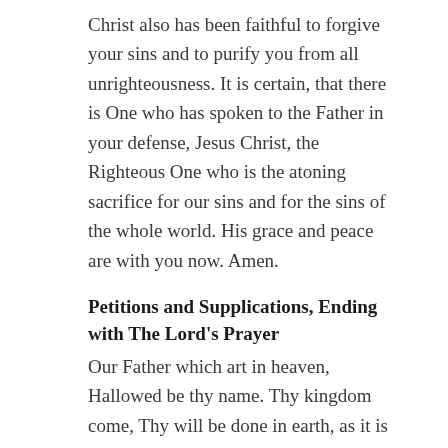Christ also has been faithful to forgive your sins and to purify you from all unrighteousness. It is certain, that there is One who has spoken to the Father in your defense, Jesus Christ, the Righteous One who is the atoning sacrifice for our sins and for the sins of the whole world. His grace and peace are with you now. Amen.
Petitions and Supplications, Ending with The Lord's Prayer
Our Father which art in heaven, Hallowed be thy name. Thy kingdom come, Thy will be done in earth, as it is in heaven. Give us this day our daily bread. And forgive us our debts, as we forgive our debtors. And lead us not into temptation, but deliver us from evil: For thine is the kingdom, and the power, and the glory, for ever. Amen.